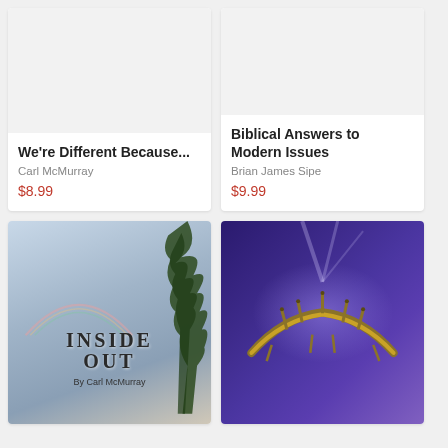[Figure (illustration): Book card with grey placeholder image for 'We're Different Because...']
We're Different Because...
Carl McMurray
$8.99
[Figure (illustration): Book card with grey placeholder image for 'Biblical Answers to Modern Issues']
Biblical Answers to Modern Issues
Brian James Sipe
$9.99
[Figure (photo): Book cover for 'Inside Out' by Carl McMurray, showing sky with trees and large bold text]
[Figure (photo): Book cover showing a golden crown of thorns on a purple/blue background with light effects]